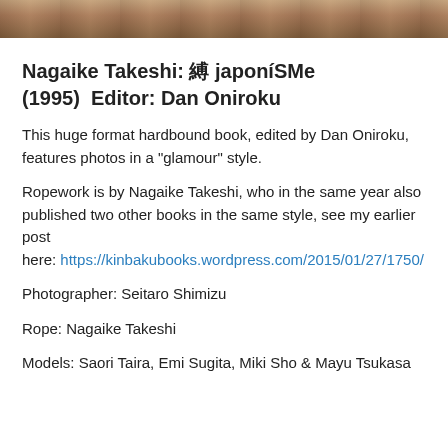[Figure (photo): Partial photo strip at top of page, showing a cropped image with warm skin and dark hair tones]
Nagaike Takeshi: 縛 japoníSMe (1995)  Editor: Dan Oniroku
This huge format hardbound book, edited by Dan Oniroku, features photos in a "glamour" style.
Ropework is by Nagaike Takeshi, who in the same year also published two other books in the same style, see my earlier post here: https://kinbakubooks.wordpress.com/2015/01/27/1750/
Photographer: Seitaro Shimizu
Rope: Nagaike Takeshi
Models: Saori Taira, Emi Sugita, Miki Sho & Mayu Tsukasa